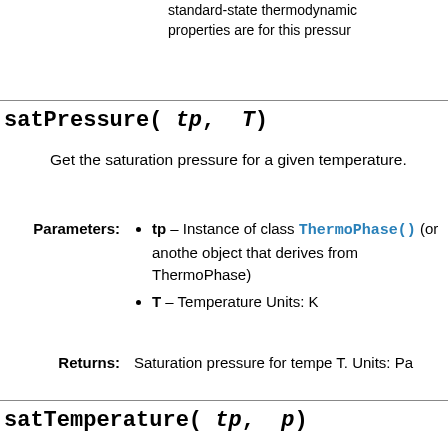standard-state thermodynamic properties are for this pressure
satPressure(tp, T)
Get the saturation pressure for a given temperature.
Parameters: tp – Instance of class ThermoPhase() (or another object that derives from ThermoPhase) T – Temperature Units: K
Returns: Saturation pressure for temperature T. Units: Pa
satTemperature(tp, p)